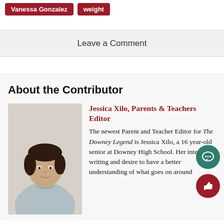Vanessa Gonzalez
weight
Leave a Comment
About the Contributor
[Figure (photo): Photo of Jessica Xilo, a young woman with dark hair pulled back, wearing a light gray t-shirt, smiling at the camera against a light background.]
Jessica Xilo, Parents & Teachers Editor
The newest Parent and Teacher Editor for The Downey Legend is Jessica Xilo, a 16 year-old senior at Downey High School. Her interest in writing and desire to have a better understanding of what goes on around